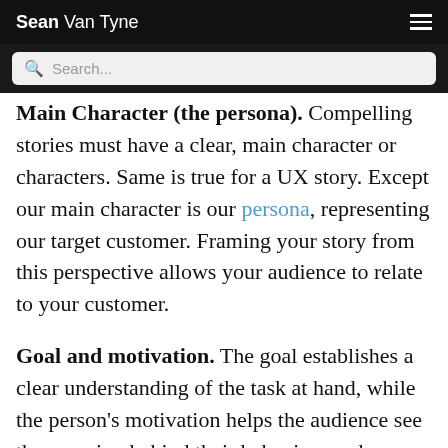Sean Van Tyne
Main Character (the persona). Compelling stories must have a clear, main character or characters. Same is true for a UX story. Except our main character is our persona, representing our target customer. Framing your story from this perspective allows your audience to relate to your customer.
Goal and motivation. The goal establishes a clear understanding of the task at hand, while the person's motivation helps the audience see the meaning behind their behaviors and decision